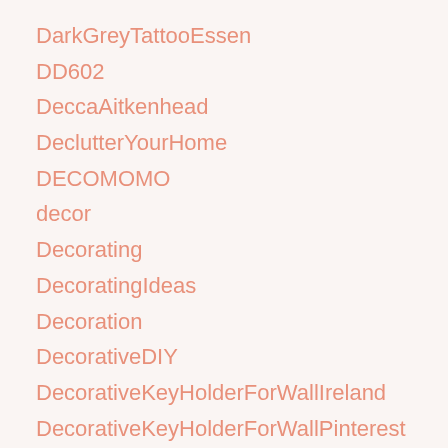DarkGreyTattooEssen
DD602
DeccaAitkenhead
DeclutterYourHome
DECOMOMO
decor
Decorating
DecoratingIdeas
Decoration
DecorativeDIY
DecorativeKeyHolderForWallIreland
DecorativeKeyHolderForWallPinterest
DecorativeKeyHolderForWallWalmart
DecorativeObjectsForBookshelf